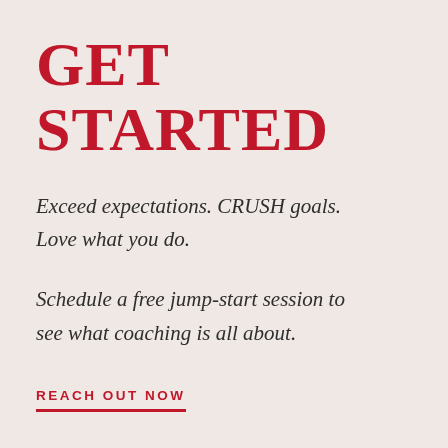GET STARTED
Exceed expectations. CRUSH goals. Love what you do.
Schedule a free jump-start session to see what coaching is all about.
REACH OUT NOW